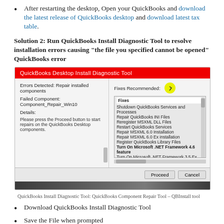After restarting the desktop, Open your QuickBooks and download the latest release of QuickBooks desktop and download latest tax table.
Solution 2: Run QuickBooks Install Diagnostic Tool to resolve installation errors causing “the file you specified cannot be opened” QuickBooks error
[Figure (screenshot): QuickBooks Desktop Install Diagnostic Tool dialog showing Errors Detected: Repair installed components, Failed Component: Component_Repair_Win10, Details, and a list of Fixes Recommended including Shutdown QuickBooks Services and Processes, Repair QuickBooks INI Files, Reregister MSXML DLL Files, Restart QuickBooks Services, Repair MSXML 6.0 Installation, Repair MSXML 6.0 Ex installation, Register QuickBooks Library Files, Turn On Microsoft .NET Framework 4.6 feature, Turn On Microsoft .NET Framework 3.5 Ex feature, Install VC9 Component, with Proceed and Cancel buttons.]
QuickBooks Install Diagnostic Tool: QuickBooks Component Repair Tool – QBInstall tool
Download QuickBooks Install Diagnostic Tool
Save the File when prompted
Run QuickBooks install diagnostic tool to detect errors in your